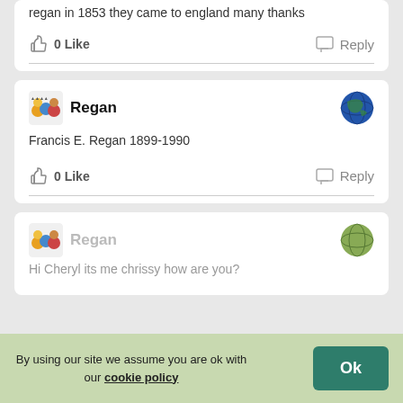regan in 1853 they came to england many thanks
0 Like
Reply
Regan
Francis E. Regan 1899-1990
0 Like
Reply
Regan
Hi Cheryl its me chrissy how are you?
By using our site we assume you are ok with our cookie policy
Ok